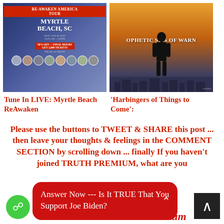[Figure (photo): Event poster for ReAwaken America Tour in Myrtle Beach, SC with crowd of faces]
[Figure (photo): Movie poster showing silhouette of person against sunset skyline with text 'PROPHETIC SIGNS OF WARNING']
Tune In LIVE: Myrtle Beach ReAwaken
'Harbingers of Things to Come':
Please use the buttons to TWEET & SHARE this post ... then leave your thoughts & feelings in the COMMENT SECTION by scrolling down ... finally If you haven't joined TRUTH PREMIUM, what are you
Answer Now --- Is It TRUE That You Support Joe Biden?
CLICK H...remium